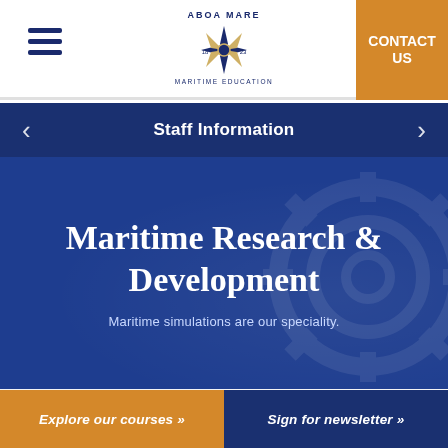[Figure (logo): Aboa Mare maritime education logo — compass rose star shape with blue and gold colors, text 'ABOA MARE' above and 'MARITIME EDUCATION' below, years '18' and '23' on sides]
CONTACT US
Staff Information
Maritime Research & Development
Maritime simulations are our speciality.
Explore our courses »
Sign for newsletter »